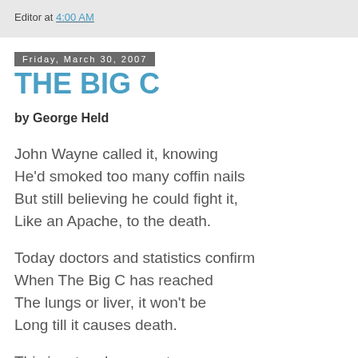Editor at 4:00 AM
Friday, March 30, 2007
THE BIG C
by George Held
John Wayne called it, knowing
He'd smoked too many coffin nails
But still believing he could fight it,
Like an Apache, to the death.
Today doctors and statistics confirm
When The Big C has reached
The lungs or liver, it won't be
Long till it causes death.
This is a tough concept
For a nation at war
With the teeth-clench death…